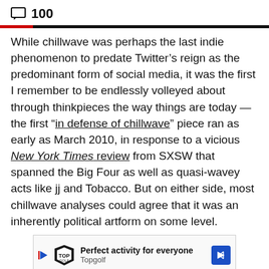100
While chillwave was perhaps the last indie phenomenon to predate Twitter’s reign as the predominant form of social media, it was the first I remember to be endlessly volleyed about through thinkpieces the way things are today — the first “in defense of chillwave” piece ran as early as March 2010, in response to a vicious New York Times review from SXSW that spanned the Big Four as well as quasi-wavey acts like jj and Tobacco. But on either side, most chillwave analyses could agree that it was an inherently political artform on some level.
[Figure (infographic): Advertisement banner for Topgolf: 'Perfect activity for everyone' with Topgolf logo, play button, and blue navigation arrow icon.]